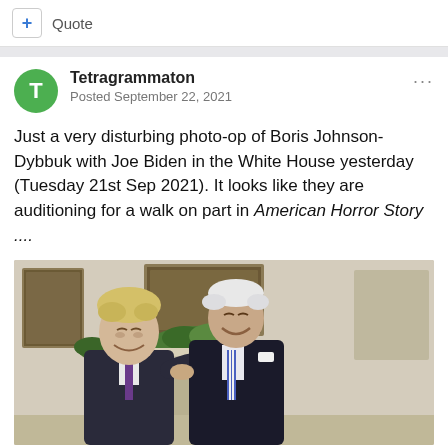+ Quote
Tetragrammaton
Posted September 22, 2021
Just a very disturbing photo-op of Boris Johnson-Dybbuk with Joe Biden in the White House yesterday (Tuesday 21st Sep 2021). It looks like they are auditioning for a walk on part in American Horror Story ....
[Figure (photo): Photo of two men laughing together in what appears to be the White House Oval Office, standing in front of paintings and greenery on a mantelpiece. One man has dishevelled blond hair wearing a dark suit with purple tie, the other is older with white hair wearing a dark suit with blue striped tie.]